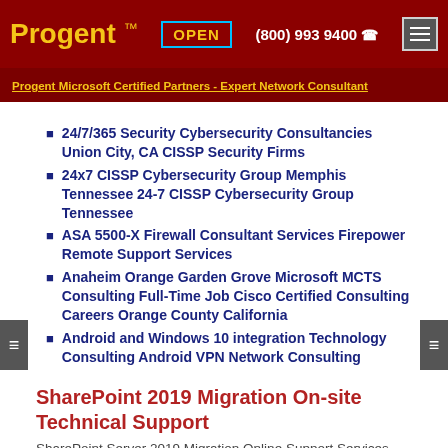Progent ™  OPEN  (800) 993 9400  ☎
Progent Microsoft Certified Partners - Expert Network Consultant
24/7/365 Security Cybersecurity Consultancies Union City, CA CISSP Security Firms
24x7 CISSP Cybersecurity Group Memphis Tennessee 24-7 CISSP Cybersecurity Group Tennessee
ASA 5500-X Firewall Consultant Services Firepower Remote Support Services
Anaheim Orange Garden Grove Microsoft MCTS Consulting Full-Time Job Cisco Certified Consulting Careers Orange County California
Android and Windows 10 integration Technology Consulting Android VPN Network Consulting
SharePoint 2019 Migration On-site Technical Support
SharePoint Server 2019 Migration Online Support Services